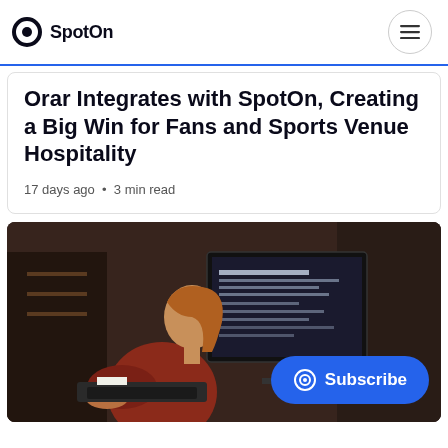SpotOn
Orar Integrates with SpotOn, Creating a Big Win for Fans and Sports Venue Hospitality
17 days ago • 3 min read
[Figure (photo): Woman in red top working at a point-of-sale terminal with a large monitor screen in a hospitality/bar setting]